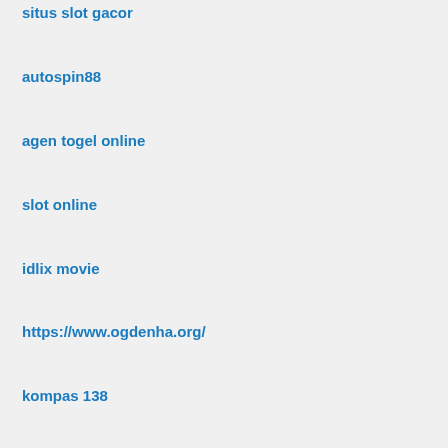situs slot gacor
autospin88
agen togel online
slot online
idlix movie
https://www.ogdenha.org/
kompas 138